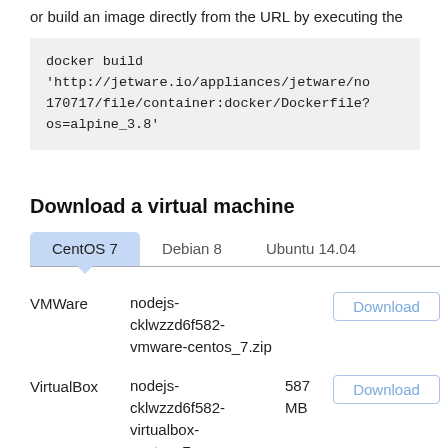or build an image directly from the URL by executing the
docker build
'http://jetware.io/appliances/jetware/no
170717/file/container:docker/Dockerfile?
os=alpine_3.8'
Download a virtual machine
CentOS 7   Debian 8   Ubuntu 14.04
|  | File | Size | Action |
| --- | --- | --- | --- |
| VMWare | nodejs-cklwzzd6f582-vmware-centos_7.zip |  | Download |
| VirtualBox | nodejs-cklwzzd6f582-virtualbox-centos_7.ova | 587 MB | Download |